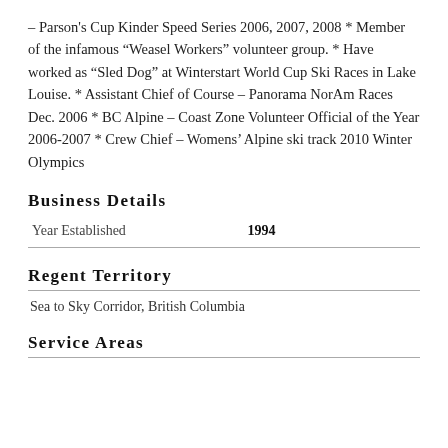– Parson's Cup Kinder Speed Series 2006, 2007, 2008 * Member of the infamous “Weasel Workers” volunteer group. * Have worked as “Sled Dog” at Winterstart World Cup Ski Races in Lake Louise. * Assistant Chief of Course – Panorama NorAm Races Dec. 2006 * BC Alpine – Coast Zone Volunteer Official of the Year 2006-2007 * Crew Chief – Womens' Alpine ski track 2010 Winter Olympics
Business Details
|  |  |
| --- | --- |
| Year Established | 1994 |
Regent Territory
Sea to Sky Corridor, British Columbia
Service Areas